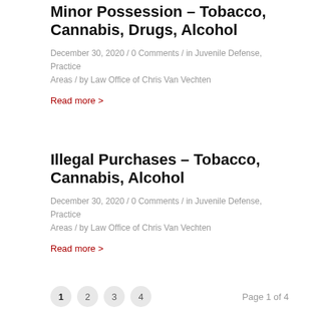Minor Possession – Tobacco, Cannabis, Drugs, Alcohol
December 30, 2020 / 0 Comments / in Juvenile Defense, Practice Areas / by Law Office of Chris Van Vechten
Read more >
Illegal Purchases – Tobacco, Cannabis, Alcohol
December 30, 2020 / 0 Comments / in Juvenile Defense, Practice Areas / by Law Office of Chris Van Vechten
Read more >
1  2  3  4  Page 1 of 4